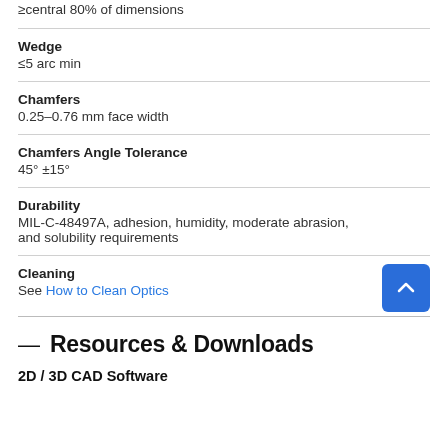≥central 80% of dimensions
Wedge
≤5 arc min
Chamfers
0.25–0.76 mm face width
Chamfers Angle Tolerance
45° ±15°
Durability
MIL-C-48497A, adhesion, humidity, moderate abrasion, and solubility requirements
Cleaning
See How to Clean Optics
— Resources & Downloads
2D / 3D CAD Software